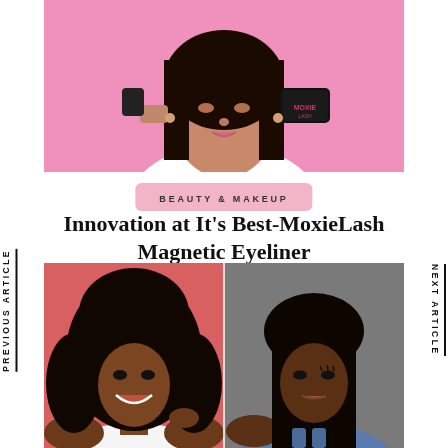[Figure (photo): Woman holding MoxieLash product against pink background, upper body photo cropped at top of page]
BEAUTY & MAKEUP
Innovation at It's Best-MoxieLash Magnetic Eyeliner
[Figure (photo): Two women side by side showcasing lashes - left woman smiling with curly hair on pink background, right woman with straight hair on grey background]